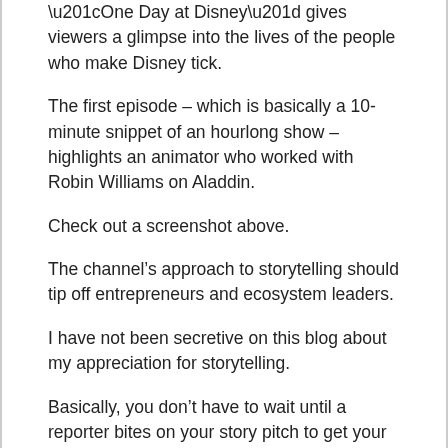“One Day at Disney” gives viewers a glimpse into the lives of the people who make Disney tick.
The first episode – which is basically a 10-minute snippet of an hourlong show – highlights an animator who worked with Robin Williams on Aladdin.
Check out a screenshot above.
The channel’s approach to storytelling should tip off entrepreneurs and ecosystem leaders.
I have not been secretive on this blog about my appreciation for storytelling.
Basically, you don’t have to wait until a reporter bites on your story pitch to get your story told.
In today’s business world, the platforms you can